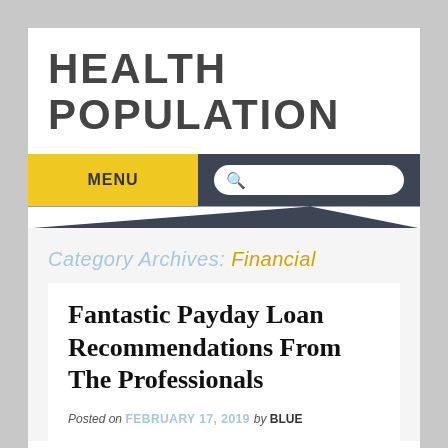HEALTH POPULATION
MENU
Category Archives: Financial
Fantastic Payday Loan Recommendations From The Professionals
Posted on FEBRUARY 17, 2019 by BLUE